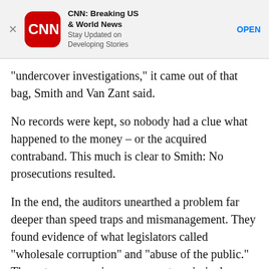[Figure (screenshot): CNN app advertisement banner with CNN logo (red rounded square), title 'CNN: Breaking US & World News', subtitle 'Stay Updated on Developing Stories', and an OPEN button]
“undercover investigations,” it came out of that bag, Smith and Van Zant said.
No records were kept, so nobody had a clue what happened to the money – or the acquired contraband. This much is clear to Smith: No prosecutions resulted.
In the end, the auditors unearthed a problem far deeper than speed traps and mismanagement. They found evidence of what legislators called “wholesale corruption” and “abuse of the public.” The vote was unanimous: request a criminal investigation, a forensic audit and a grand jury and look into getting a special prosecutor.